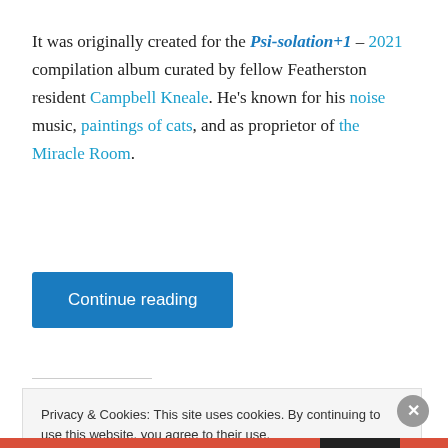It was originally created for the Psi-solation+1 – 2021 compilation album curated by fellow Featherston resident Campbell Kneale. He's known for his noise music, paintings of cats, and as proprietor of the Miracle Room.
Continue reading
Privacy & Cookies: This site uses cookies. By continuing to use this website, you agree to their use.
To find out more, including how to control cookies, see here: Cookie Policy
Close and accept